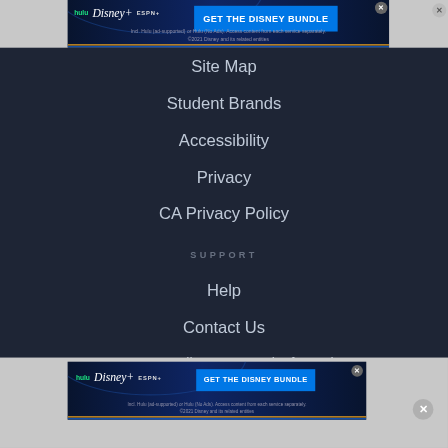[Figure (screenshot): Disney Bundle advertisement banner at top: Hulu, Disney+, ESPN+ logos with 'GET THE DISNEY BUNDLE' CTA button in blue. Fine print: Incl. Hulu (ad-supported) or Hulu (No Ads). Access content from each service separately. ©2021 Disney and its related entities]
Site Map
Student Brands
Accessibility
Privacy
CA Privacy Policy
SUPPORT
Help
Contact Us
CA Do Not Sell My Personal Information
[Figure (screenshot): Disney Bundle advertisement banner at bottom: Hulu, Disney+, ESPN+ logos with 'GET THE DISNEY BUNDLE' CTA button in blue. Fine print: Incl. Hulu (ad-supported) or Hulu (No Ads). Access content from each service separately. ©2021 Disney and its related entities]